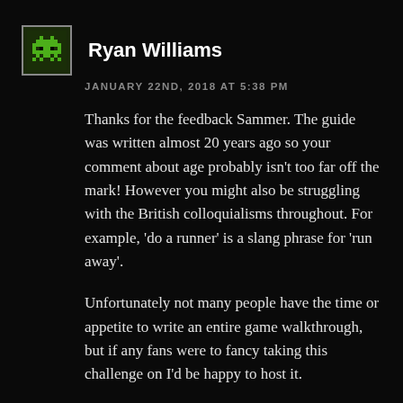[Figure (illustration): Pixel art avatar of a Space Invaders alien in green on dark background, inside a small bordered square]
Ryan Williams
JANUARY 22ND, 2018 AT 5:38PM
Thanks for the feedback Sammer. The guide was written almost 20 years ago so your comment about age probably isn't too far off the mark! However you might also be struggling with the British colloquialisms throughout. For example, 'do a runner' is a slang phrase for 'run away'.
Unfortunately not many people have the time or appetite to write an entire game walkthrough, but if any fans were to fancy taking this challenge on I'd be happy to host it.